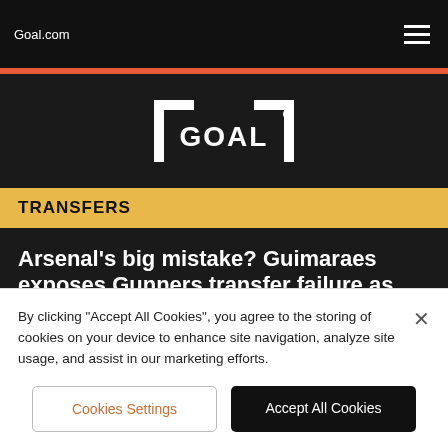Goal.com
[Figure (logo): GOAL logo — white bracket-style wordmark on dark background]
TRANSFERS
Arsenal's big mistake? Guimaraes exposes Gunners transfer failure as inquest into Champions League collapse
By clicking "Accept All Cookies", you agree to the storing of cookies on your device to enhance site navigation, analyze site usage, and assist in our marketing efforts.
Cookies Settings
Accept All Cookies